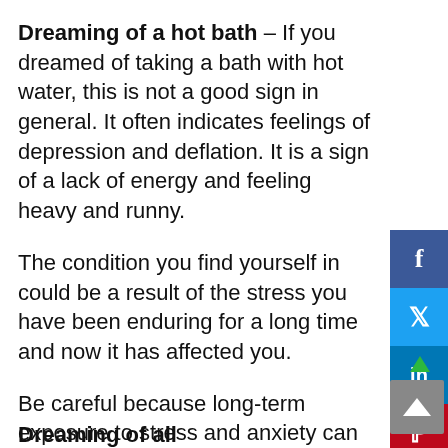Dreaming of a hot bath – If you dreamed of taking a bath with hot water, this is not a good sign in general. It often indicates feelings of depression and deflation. It is a sign of a lack of energy and feeling heavy and runny.
The condition you find yourself in could be a result of the stress you have been enduring for a long time and now it has affected you.
Be careful because long-term exposure to stress and anxiety can jeopardize and ruin your health and general well-being. You need to find time to relax and release accumulated negativity.
Dreaming of all...